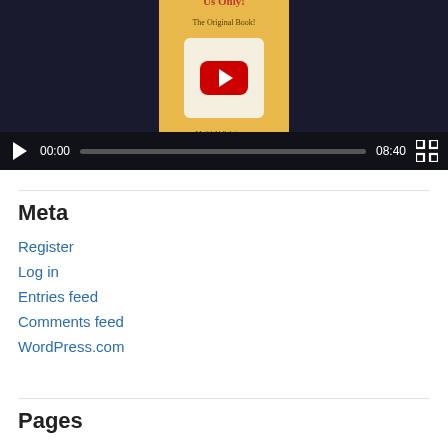[Figure (screenshot): YouTube video player showing a book cover titled 'Us Only! The Original Book!' by Majid Al Suleimany on a dark background, with video controls showing 00:00 current time and 08:40 duration]
Meta
Register
Log in
Entries feed
Comments feed
WordPress.com
Pages